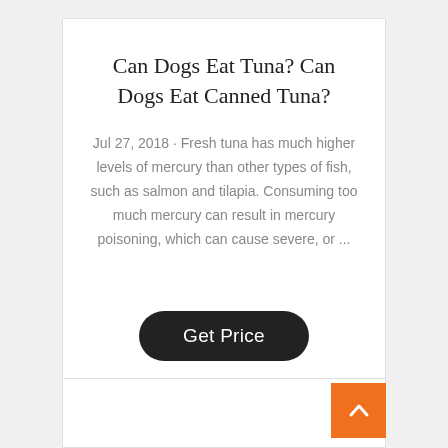Can Dogs Eat Tuna? Can Dogs Eat Canned Tuna?
Jul 27, 2018 · Fresh tuna has much higher levels of mercury than other types of fish, such as salmon and tilapia. Consuming too much mercury can result in mercury poisoning, which can cause severe, or ...
[Figure (other): Black rounded rectangle button labeled 'Get Price']
[Figure (other): Orange square scroll-to-top button with upward arrow icon]